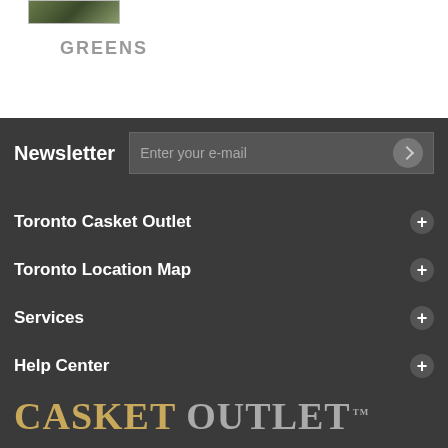[Figure (photo): Small product thumbnail image in top-left corner]
GREENS
Newsletter — Enter your e-mail
Toronto Casket Outlet
Toronto Location Map
Services
Help Center
CASKET OUTLET™